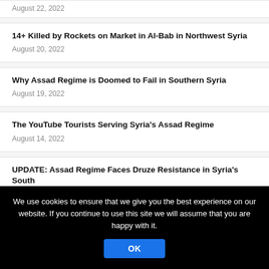August 22, 2022
14+ Killed by Rockets on Market in Al-Bab in Northwest Syria
August 20, 2022
Why Assad Regime is Doomed to Fail in Southern Syria
August 19, 2022
The YouTube Tourists Serving Syria's Assad Regime
August 14, 2022
UPDATE: Assad Regime Faces Druze Resistance in Syria's South
August 5, 2022
We use cookies to ensure that we give you the best experience on our website. If you continue to use this site we will assume that you are happy with it.